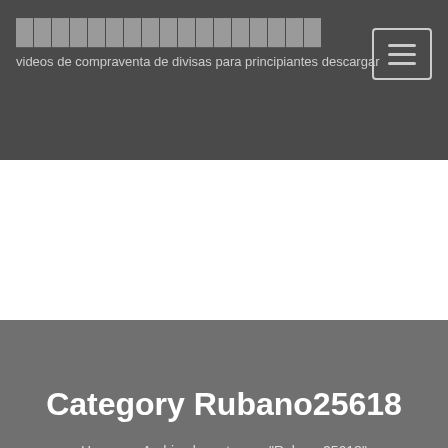videos de compraventa de divisas para principiantes descargar
Category Rubano25618
Home › Archive by category "Rubano25618"
Rubano25618